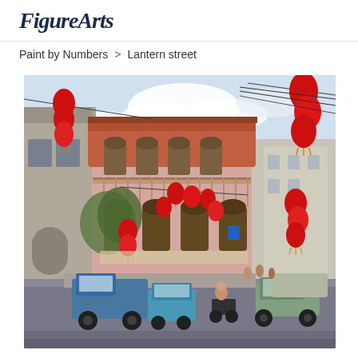FigureArts
Paint by Numbers > Lantern street
[Figure (photo): Watercolor painting of a lantern-decorated street scene in an Asian city. A pink colonial-style two-story building with a terracotta roof dominates the center. Red Chinese lanterns hang from wires above the street on both sides. Street traffic includes a blue pickup truck, tuk-tuks, motorcycles, and vintage cars. Pedestrians walk along the sidewalk.]